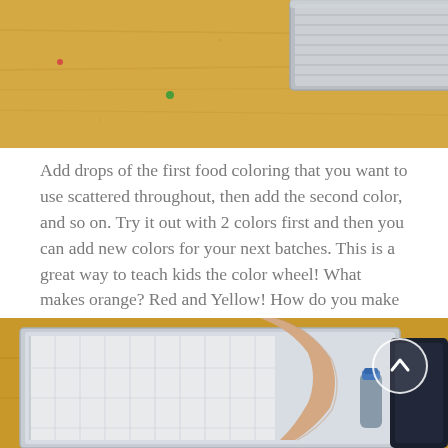[Figure (photo): Top portion of a photo showing a wooden table surface with an aluminum baking tray visible in the upper right corner, and a few small drops of food coloring (green and red) scattered on the wood surface.]
Add drops of the first food coloring that you want to use scattered throughout, then add the second color, and so on. Try it out with 2 colors first and then you can add new colors for your next batches. This is a great way to teach kids the color wheel! What makes orange? Red and Yellow! How do you make pink? etc. I love this activity!
[Figure (photo): Photo showing a child reaching into a silver aluminum foil baking tray filled with shaving cream or similar white substance, with a wooden table surface visible and a small bottle of blue food coloring nearby. A circular arrow/scroll-up icon is overlaid in the right portion of the image.]